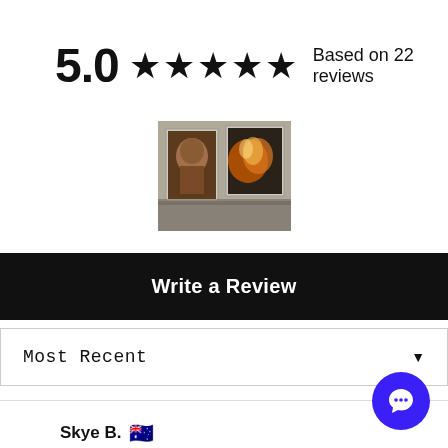5.0 ★★★★★ Based on 22 reviews
[Figure (photo): Product photo showing two framed artworks displayed on a wall - one appears to be a portrait and the other an abstract fire/explosion image]
Write a Review
Most Recent
Skye B. 🇦🇺
✔ Verified Buyer